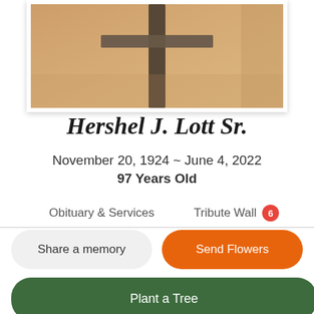[Figure (photo): Photo of a wooden cross mounted on a pole, warm sepia/tan tones, displayed in a white-framed photo frame]
Hershel J. Lott Sr.
November 20, 1924 ~ June 4, 2022
97 Years Old
Obituary & Services
Tribute Wall 6
Share a memory
Send Flowers
Plant a Tree